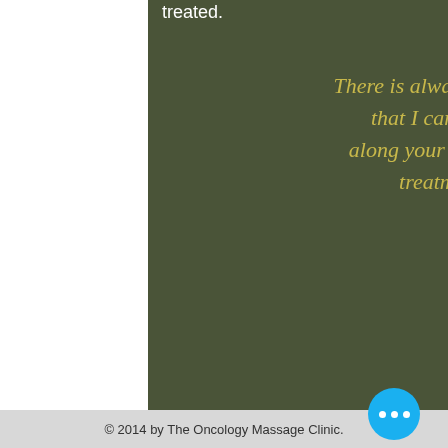treated.
There is always some form of massage that I can offer to support you along your journey through cancer treatment and recovery.
© 2014 by The Oncology Massage Clinic.